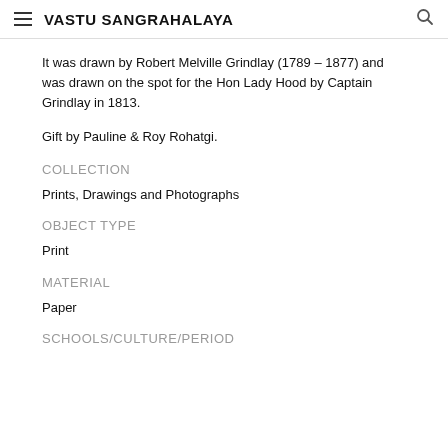VASTU SANGRAHALAYA
It was drawn by Robert Melville Grindlay (1789 – 1877) and was drawn on the spot for the Hon Lady Hood by Captain Grindlay in 1813.
Gift by Pauline & Roy Rohatgi.
COLLECTION
Prints, Drawings and Photographs
OBJECT TYPE
Print
MATERIAL
Paper
SCHOOLS/CULTURE/PERIOD